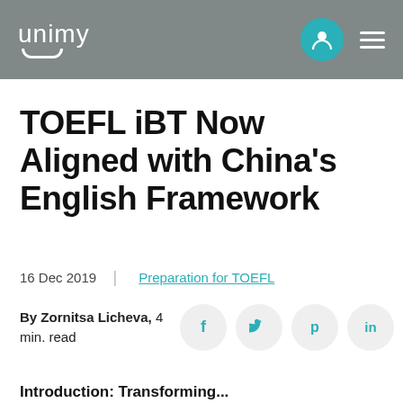unimy
TOEFL iBT Now Aligned with China's English Framework
16 Dec 2019  |  Preparation for TOEFL
By Zornitsa Licheva, 4 min. read